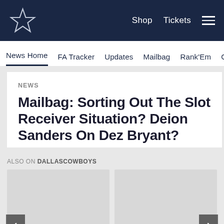[Figure (logo): Dallas Cowboys star logo and navigation bar with Shop, Tickets links and hamburger menu on dark navy background]
News Home   FA Tracker   Updates   Mailbag   Rank'Em   Cowbuz
NEWS
Mailbag: Sorting Out The Slot Receiver Situation? Deion Sanders On Dez Bryant?
NEWS
5 Points M "Maturity" Seeks Co
ALSO ON DALLASCOWBOYS
[Figure (photo): Two thumbnail image cards for related articles on DallasCowboys site, with left and right navigation arrows]
[Figure (infographic): Social sharing icons: Facebook, Twitter, Email, Link]